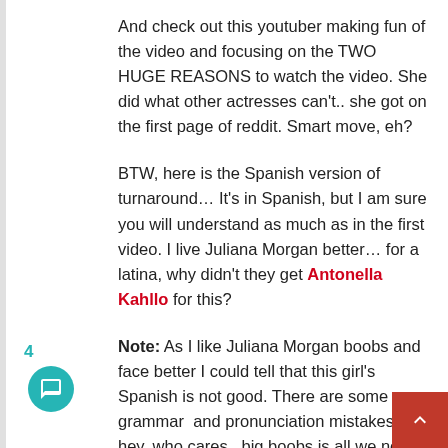And check out this youtuber making fun of the video and focusing on the TWO HUGE REASONS to watch the video. She did what other actresses can't.. she got on the first page of reddit. Smart move, eh?
BTW, here is the Spanish version of turnaround… It's in Spanish, but I am sure you will understand as much as in the first video. I live Juliana Morgan better… for a latina, why didn't they get Antonella Kahllo for this?
Note: As I like Juliana Morgan boobs and face better I could tell that this girl's Spanish is not good. There are some grammar  and pronunciation mistakes, but hey, who cares.. big boobs is all we need!